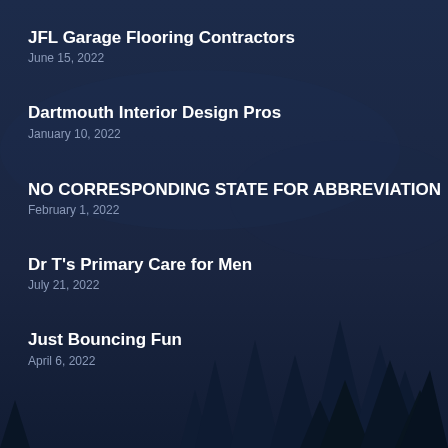JFL Garage Flooring Contractors
June 15, 2022
Dartmouth Interior Design Pros
January 10, 2022
NO CORRESPONDING STATE FOR ABBREVIATION
February 1, 2022
Dr T's Primary Care for Men
July 21, 2022
Just Bouncing Fun
April 6, 2022